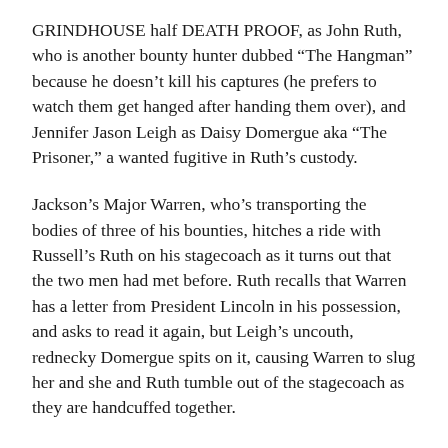GRINDHOUSE half DEATH PROOF, as John Ruth, who is another bounty hunter dubbed “The Hangman” because he doesn’t kill his captures (he prefers to watch them get hanged after handing them over), and Jennifer Jason Leigh as Daisy Domergue aka “The Prisoner,” a wanted fugitive in Ruth’s custody.
Jackson’s Major Warren, who’s transporting the bodies of three of his bounties, hitches a ride with Russell’s Ruth on his stagecoach as it turns out that the two men had met before. Ruth recalls that Warren has a letter from President Lincoln in his possession, and asks to read it again, but Leigh’s uncouth, rednecky Domergue spits on it, causing Warren to slug her and she and Ruth tumble out of the stagecoach as they are handcuffed together.
Chapter Two, “Son of a Gun,” introduces Walton Goggins (The Shield, Justified, DJANGO UNCHAINED) as Chris Mannix of the infamous Mannix Marauders as Ruth tells